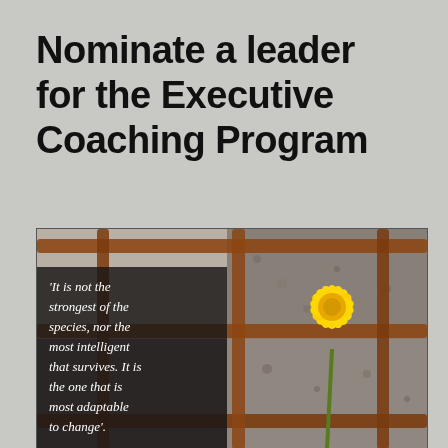Nominate a leader for the Executive Coaching Program
[Figure (photo): A yellow dandelion flower growing through a rusty metal grid fence, with a quote overlay on the left: 'It is not the strongest of the species, nor the most intelligent that survives. It is the one that is most adaptable to change'.]